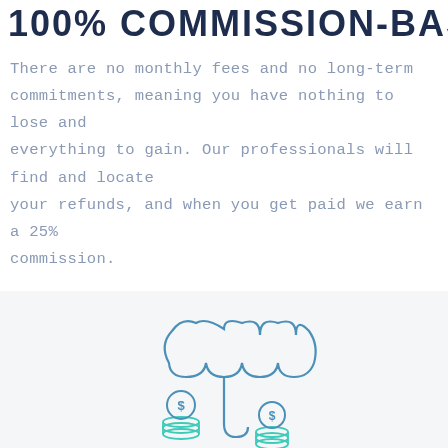100% COMMISSION-BASED
There are no monthly fees and no long-term commitments, meaning you have nothing to lose and everything to gain. Our professionals will find and locate your refunds, and when you get paid we earn a 25% commission.
[Figure (illustration): An illustration of an umbrella sheltering two stacks of coins with dollar signs, rendered in teal and blue outline style.]
AUDITED & APPROVED BY AMAZON